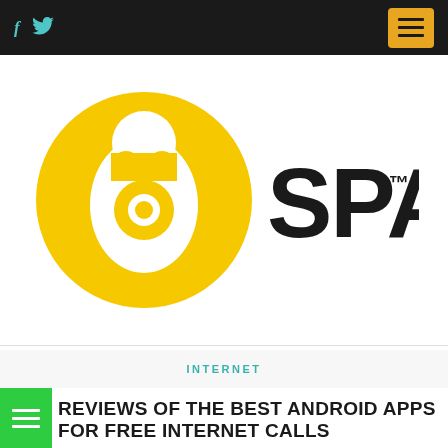f  [twitter icon]  [menu button]
[Figure (logo): 6SPACE logo: large yellow circle with white figure/bird silhouette and yellow center circle, next to bold black text 'SPACE' with TM superscript]
INTERNET
REVIEWS OF THE BEST ANDROID APPS FOR FREE INTERNET CALLS